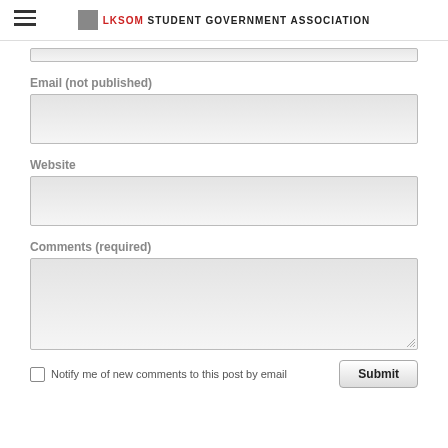LKSOM STUDENT GOVERNMENT ASSOCIATION
Email (not published)
Website
Comments (required)
Notify me of new comments to this post by email